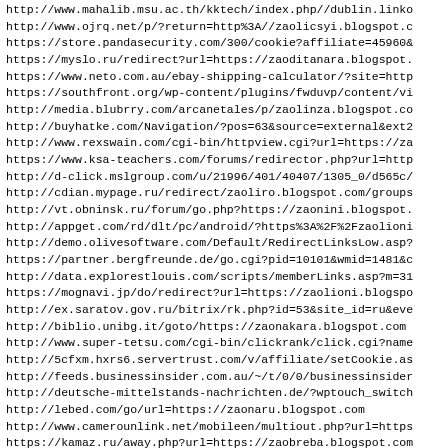http://www.mahalib.msu.ac.th/kktech/index.php//dublin.linko
http://www.ojrq.net/p/?return=http%3A//zaolicsyi.blogspot.c
https://store.pandasecurity.com/300/cookie?affiliate=45960&
https://myslo.ru/redirect?url=https://zaoditanara.blogspot.
https://www.neto.com.au/ebay-shipping-calculator/?site=http
https://southfront.org/wp-content/plugins/fwduvp/content/vi
http://media.blubrry.com/arcanetales/p/zaolinza.blogspot.co
http://buyhatke.com/Navigation/?pos=63&source=external&ext2
http://www.rexswain.com/cgi-bin/httpview.cgi?url=https://za
https://www.ksa-teachers.com/forums/redirector.php?url=http
http://d-click.mslgroup.com/u/21996/401/40407/1305_0/d565c/
http://cdian.mypage.ru/redirect/zaoliro.blogspot.com/groups
http://vt.obninsk.ru/forum/go.php?https://zaonini.blogspot.
http://appget.com/rd/dlt/pc/android/?https%3A%2F%2Fzaolioni
http://demo.olivesoftware.com/Default/RedirectLinksLow.asp?
https://partner.bergfreunde.de/go.cgi?pid=10101&wmid=1481&c
http://data.explorestlouis.com/scripts/memberLinks.asp?m=31
https://mognavi.jp/do/redirect?url=https://zaolioni.blogspo
http://ex.saratov.gov.ru/bitrix/rk.php?id=53&site_id=ru&eve
http://biblio.unibg.it/goto/https://zaonakara.blogspot.com
http://www.super-tetsu.com/cgi-bin/clickrank/click.cgi?name
http://5cfxm.hxrs6.servertrust.com/v/affiliate/setCookie.as
http://feeds.businessinsider.com.au/~/t/0/0/businessinsider
http://deutsche-mittelstands-nachrichten.de/?wptouch_switch
http://lebed.com/go/url=https://zaonaru.blogspot.com
http://www.camerounlink.net/mobileen/multiout.php?url=https
https://kamaz.ru/away.php?url=https://zaobreba.blogspot.com
https://www.lake-link.com/_redirect/track.cfm?BusinessID=60
https://www.baunetz.de/rd/nl-track/?link=https://zaocirika.
...